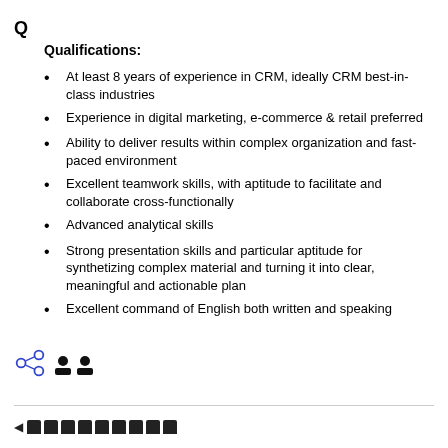Q
Qualifications:
At least 8 years of experience in CRM, ideally CRM best-in-class industries
Experience in digital marketing, e-commerce & retail preferred
Ability to deliver results within complex organization and fast-paced environment
Excellent teamwork skills, with aptitude to facilitate and collaborate cross-functionally
Advanced analytical skills
Strong presentation skills and particular aptitude for synthetizing complex material and turning it into clear, meaningful and actionable plan
Excellent command of English both written and speaking
[Figure (other): Social share icon (three circles connected) and two person/profile icons in dark color]
◄ (navigation blocks)